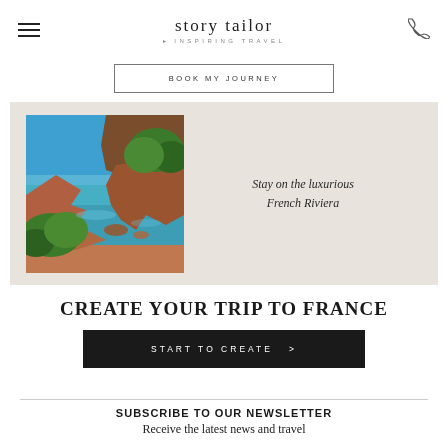story tailor · INSPIRING TRAVEL
BOOK MY JOURNEY
[Figure (photo): Coastal view of the French Riviera showing turquoise water, red rocky cliffs, and green trees under a clear blue sky]
Stay on the luxurious French Riviera
CREATE YOUR TRIP TO FRANCE
START TO CREATE  >
SUBSCRIBE TO OUR NEWSLETTER
Receive the latest news and travel